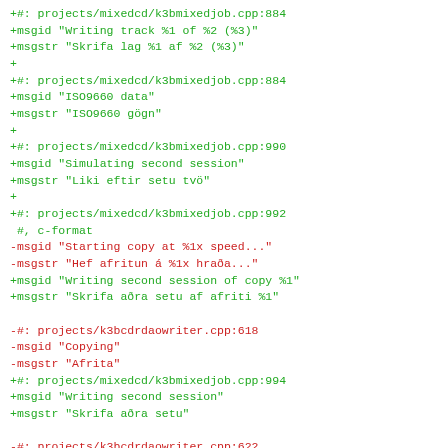+#: projects/mixedcd/k3bmixedjob.cpp:884
+msgid "Writing track %1 of %2 (%3)"
+msgstr "Skrifa lag %1 af %2 (%3)"
+
+#: projects/mixedcd/k3bmixedjob.cpp:884
+msgid "ISO9660 data"
+msgstr "ISO9660 gögn"
+
+#: projects/mixedcd/k3bmixedjob.cpp:990
+msgid "Simulating second session"
+msgstr "Liki eftir setu tvö"
+
+#: projects/mixedcd/k3bmixedjob.cpp:992
 #, c-format
-msgid "Starting copy at %1x speed..."
-msgstr "Hef afritun á %1x hraða..."
+msgid "Writing second session of copy %1"
+msgstr "Skrifa aðra setu af afriti %1"

-#: projects/k3bcdrdaowriter.cpp:618
-msgid "Copying"
-msgstr "Afrita"
+#: projects/mixedcd/k3bmixedjob.cpp:994
+msgid "Writing second session"
+msgstr "Skrifa aðra setu"

-#: projects/k3bcdrdaowriter.cpp:622
-msgid "Starting blanking..."
-msgstr "Hef tæmingu..."
+#: projects/mixedcd/k3bmixedjob.cpp:998
+msgid "Simulating first session"